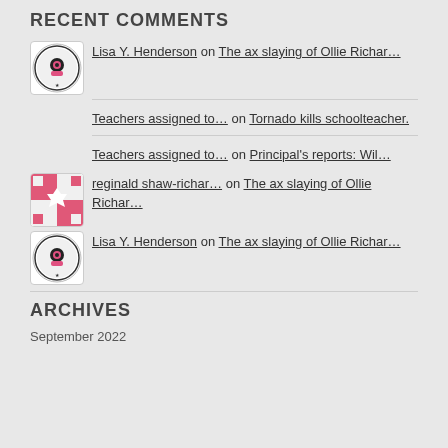RECENT COMMENTS
Lisa Y. Henderson on The ax slaying of Ollie Richar…
Teachers assigned to… on Tornado kills schoolteacher.
Teachers assigned to… on Principal's reports: Wil…
reginald shaw-richar… on The ax slaying of Ollie Richar…
Lisa Y. Henderson on The ax slaying of Ollie Richar…
ARCHIVES
September 2022